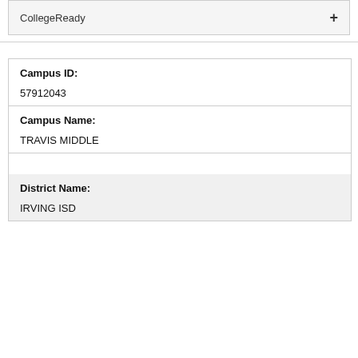CollegeReady
Campus ID:
57912043
Campus Name:
TRAVIS MIDDLE
District Name:
IRVING ISD